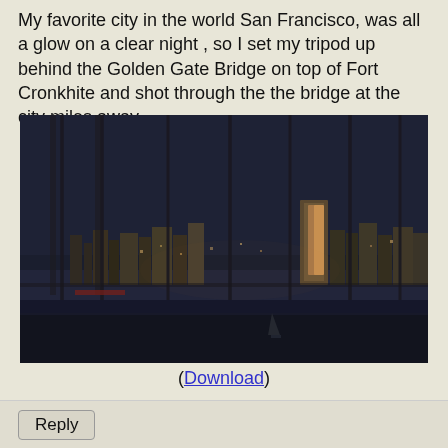My favorite city in the world San Francisco, was all a glow on a clear night , so I set my tripod up behind the Golden Gate Bridge on top of Fort Cronkhite and shot through the the bridge at the city miles away .
[Figure (photo): Night photograph of the San Francisco skyline shot through the cables of the Golden Gate Bridge from Fort Cronkhite. The city glows in the dark blue night, with downtown skyscrapers visible through the bridge cables. Dark water of the bay is in the foreground.]
(Download)